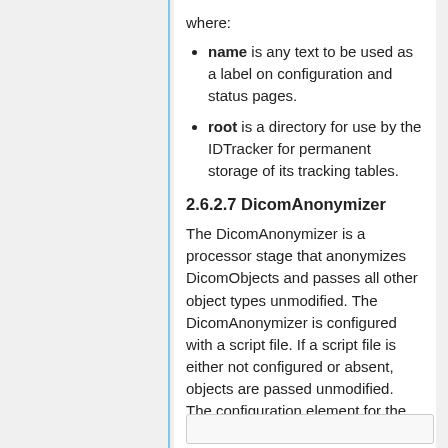where:
name is any text to be used as a label on configuration and status pages.
root is a directory for use by the IDTracker for permanent storage of its tracking tables.
2.6.2.7 DicomAnonymizer
The DicomAnonymizer is a processor stage that anonymizes DicomObjects and passes all other object types unmodified. The DicomAnonymizer is configured with a script file. If a script file is either not configured or absent, objects are passed unmodified. The configuration element for the DicomAnonymizer is:
[Figure (other): Code box at the bottom of the page (partially visible)]